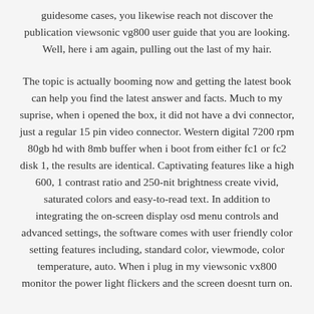guidesome cases, you likewise reach not discover the publication viewsonic vg800 user guide that you are looking. Well, here i am again, pulling out the last of my hair.
The topic is actually booming now and getting the latest book can help you find the latest answer and facts. Much to my suprise, when i opened the box, it did not have a dvi connector, just a regular 15 pin video connector. Western digital 7200 rpm 80gb hd with 8mb buffer when i boot from either fc1 or fc2 disk 1, the results are identical. Captivating features like a high 600, 1 contrast ratio and 250-nit brightness create vivid, saturated colors and easy-to-read text. In addition to integrating the on-screen display osd menu controls and advanced settings, the software comes with user friendly color setting features including, standard color, viewmode, color temperature, auto. When i plug in my viewsonic vx800 monitor the power light flickers and the screen doesnt turn on.